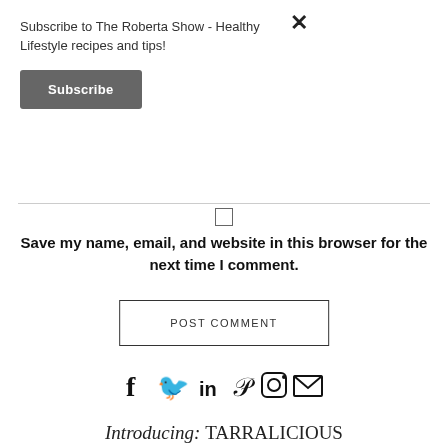Subscribe to The Roberta Show - Healthy Lifestyle recipes and tips!
Subscribe
Save my name, email, and website in this browser for the next time I comment.
POST COMMENT
[Figure (infographic): Social media icons row: Facebook, Twitter, LinkedIn, Pinterest, Instagram, Email]
Introducing: TARRALICIOUS